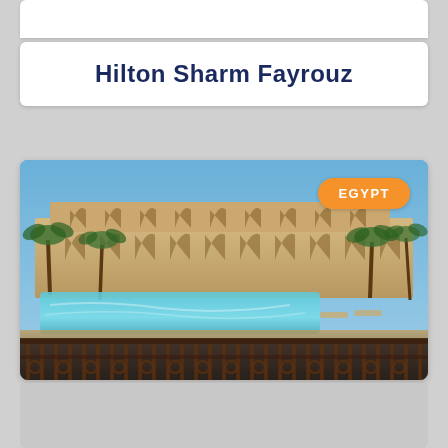Hilton Sharm Fayrouz
[Figure (photo): Aerial/elevated view of Hilton Sharm Fayrouz hotel resort in Egypt, showing a large outdoor swimming pool surrounded by sandy terrace, ornate multi-story hotel building with arched architecture, palm trees, and an iron railing in the foreground. Clear blue sky above. An orange 'EGYPT' badge is overlaid in the top-right corner.]